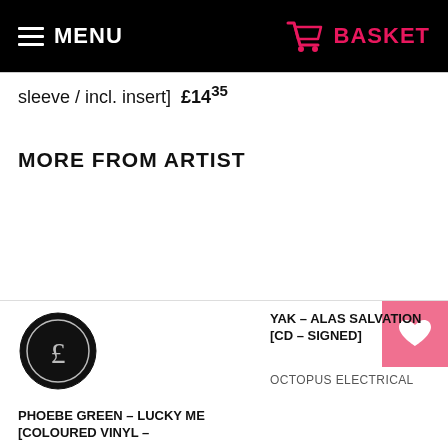MENU  BASKET
sleeve / incl. insert]  £14.35
MORE FROM ARTIST
PHOEBE GREEN - LUCKY ME [COLOURED VINYL -
YAK - ALAS SALVATION [CD - SIGNED]
OCTOPUS ELECTRICAL